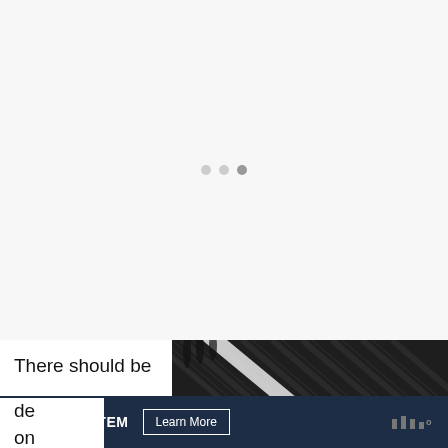[Figure (other): Large white/light gray empty area with three small loading dots centered, indicating content loading state]
There should be no cracks or de on
[Figure (photo): Close-up photo of dark textured surface (appears to be solar panel or carbon fiber material) with diagonal lines and a white edge visible]
SHE CAN STEM   Learn More   W°